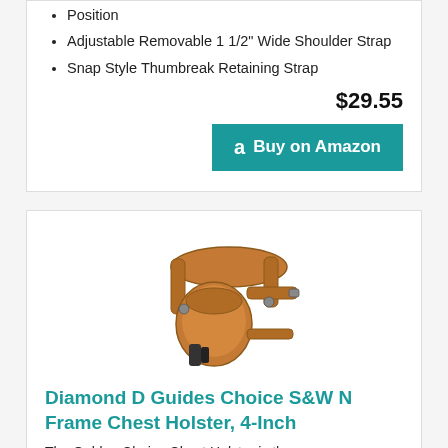Position
Adjustable Removable 1 1/2" Wide Shoulder Strap
Snap Style Thumbreak Retaining Strap
$29.55
Buy on Amazon
[Figure (photo): Brown leather chest holster with shoulder strap harness]
Diamond D Guides Choice S&W N Frame Chest Holster, 4-Inch
The Golden Choice Chest Holster is the...